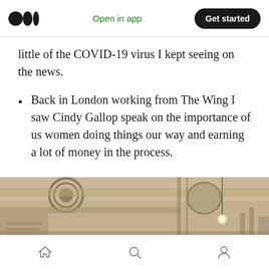Medium app header with logo, Open in app, Get started button
little of the COVID-19 virus I kept seeing on the news.
Back in London working from The Wing I saw Cindy Gallop speak on the importance of us women doing things our way and earning a lot of money in the process.
[Figure (photo): Interior ceiling photo of a modern workspace showing exposed ductwork and ventilation, sepia/warm tone]
Bottom navigation bar with home, search, and profile icons